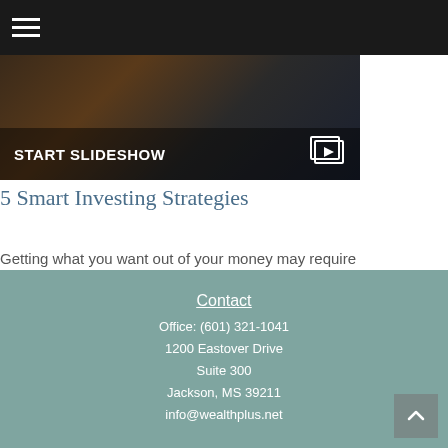Navigation menu bar with hamburger icon
[Figure (photo): Dark background hero image showing what appears to be a book or notebook with a pen, with a dark overlay. Contains 'START SLIDESHOW' text and a slideshow/video icon.]
5 Smart Investing Strategies
Getting what you want out of your money may require the right game plan.
Contact
Office: (601) 321-1041
1200 Eastover Drive
Suite 300
Jackson, MS 39211
info@wealthplus.net